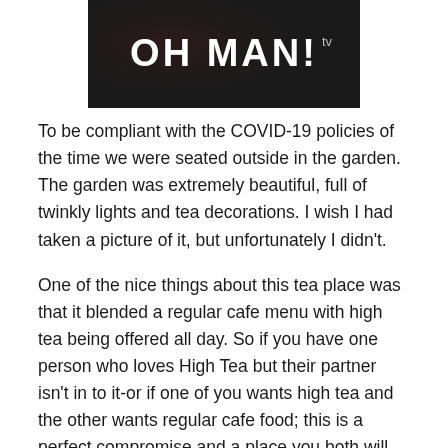[Figure (photo): Dark background image with large white bold text reading 'OH MAN!' and small 'tv' superscript text]
To be compliant with the COVID-19 policies of the time we were seated outside in the garden. The garden was extremely beautiful, full of twinkly lights and tea decorations. I wish I had taken a picture of it, but unfortunately I didn't.
One of the nice things about this tea place was that it blended a regular cafe menu with high tea being offered all day. So if you have one person who loves High Tea but their partner isn't in to it-or if one of you wants high tea and the other wants regular cafe food; this is a perfect compromise and a place you both will love. I of course wanted High Tea while my mother wanted a regular breakfast. She ordered a delicious Paris Tea and a